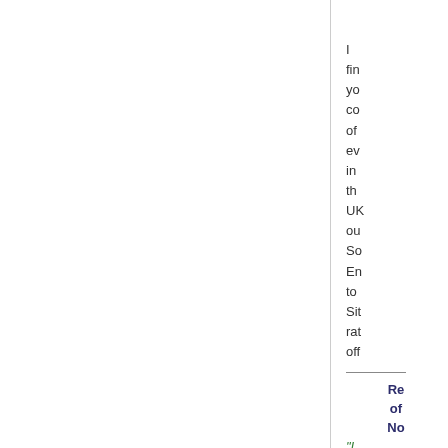I find you con of eve in the UK out So En to Sib rath offe
Rep of No
"I don thin it's